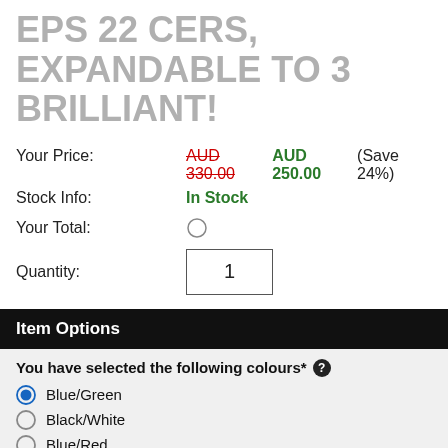EPS 22 CERS, EXPANDABLE TO 3 BRILLIANT!
Your Price: AUD 330.00 AUD 250.00 (Save 24%)
Stock Info: In Stock
Your Total:
Quantity: 1
Item Options
You have selected the following colours*
Blue/Green
Black/White
Blue/Red
Orange/Red
Other colour combinations